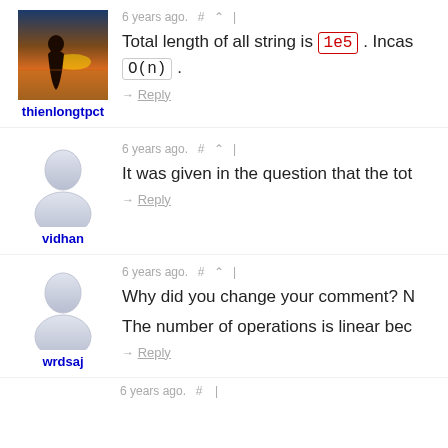[Figure (photo): Profile photo of thienlongtpct showing a silhouette against a sunset sky over water]
thienlongtpct
6 years ago. # ^ |
Total length of all string is 1e5 . Incas... O(n) .
→ Reply
[Figure (illustration): Default anonymous user avatar icon for vidhan]
vidhan
6 years ago. # ^ |
It was given in the question that the tot...
→ Reply
[Figure (illustration): Default anonymous user avatar icon for wrdsaj]
wrdsaj
6 years ago. # ^ |
Why did you change your comment? N...
The number of operations is linear bec...
→ Reply
6 years ago. # |